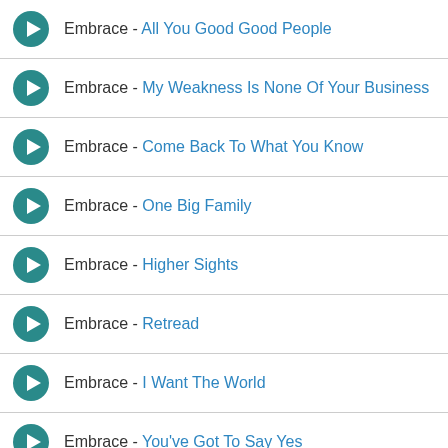Embrace - All You Good Good People
Embrace - My Weakness Is None Of Your Business
Embrace - Come Back To What You Know
Embrace - One Big Family
Embrace - Higher Sights
Embrace - Retread
Embrace - I Want The World
Embrace - You've Got To Say Yes
Embrace - Fireworks